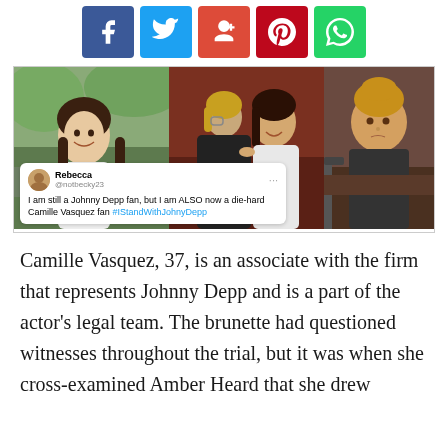[Figure (other): Social media share buttons: Facebook (blue), Twitter (light blue), Google+ (red), Pinterest (dark red), WhatsApp (green)]
[Figure (photo): Collage of three photos: left shows a smiling brunette woman outdoors, center shows a man and woman facing each other at a court hearing, right shows Amber Heard at a witness stand. A tweet overlay reads: Rebecca @notbecky23 'I am still a Johnny Depp fan, but I am ALSO now a die-hard Camille Vasquez fan #IStandWithJohnyDepp']
Camille Vasquez, 37, is an associate with the firm that represents Johnny Depp and is a part of the actor's legal team. The brunette had questioned witnesses throughout the trial, but it was when she cross-examined Amber Heard that she drew